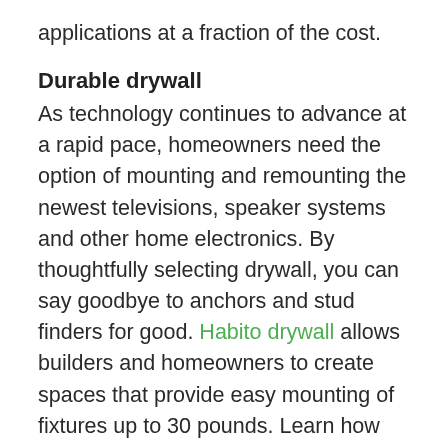applications at a fraction of the cost.
Durable drywall
As technology continues to advance at a rapid pace, homeowners need the option of mounting and remounting the newest televisions, speaker systems and other home electronics. By thoughtfully selecting drywall, you can say goodbye to anchors and stud finders for good. Habito drywall allows builders and homeowners to create spaces that provide easy mounting of fixtures up to 30 pounds. Learn how you can hang a TV or piece of art without anchors and feel confident it’s secured to the wall.
MDF cabinets
Medium density fiberboard (MDF) is a high-grade, composite material that is used to create cabinetry